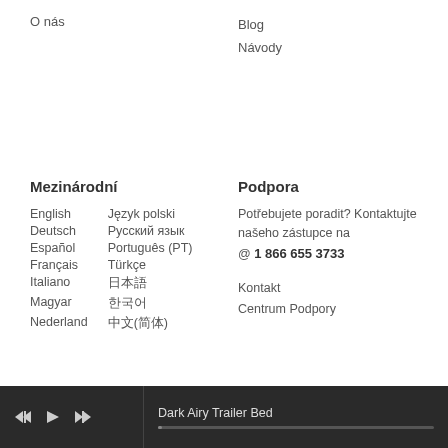O nás
Blog
Návody
Mezinárodní
English
Deutsch
Español
Français
Italiano
Magyar
Nederland
Język polski
Русский язык
Português (PT)
Türkçe
Podpora
Potřebujete poradit? Kontaktujte našeho zástupce na
@ 1 866 655 3733
Kontakt
Centrum Podpory
Dark Airy Trailer Bed